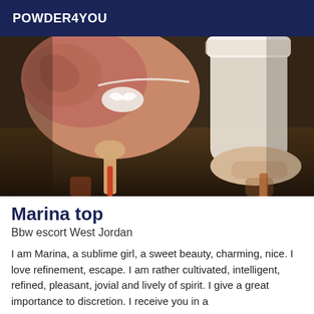POWDER4YOU
[Figure (photo): Close-up photo of a woman posing with high heels, stockings, and lingerie with tattoos visible, on a reflective floor surface.]
Marina top
Bbw escort West Jordan
I am Marina, a sublime girl, a sweet beauty, charming, nice. I love refinement, escape. I am rather cultivated, intelligent, refined, pleasant, jovial and lively of spirit. I give a great importance to discretion. I receive you in a